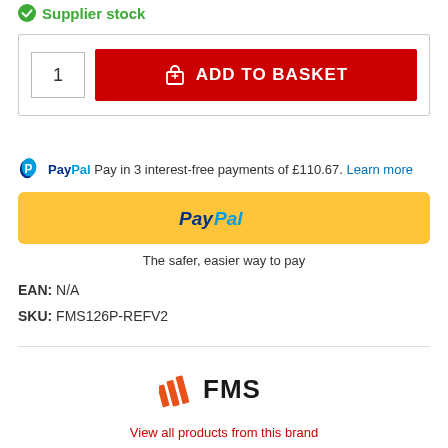✓ Supplier stock
[Figure (screenshot): Add to basket UI with quantity input (1) and red ADD TO BASKET button with basket icon]
PayPal Pay in 3 interest-free payments of £110.67. Learn more
[Figure (logo): PayPal yellow checkout button]
The safer, easier way to pay
EAN: N/A
SKU: FMS126P-REFV2
[Figure (logo): FMS brand logo in orange/black]
View all products from this brand